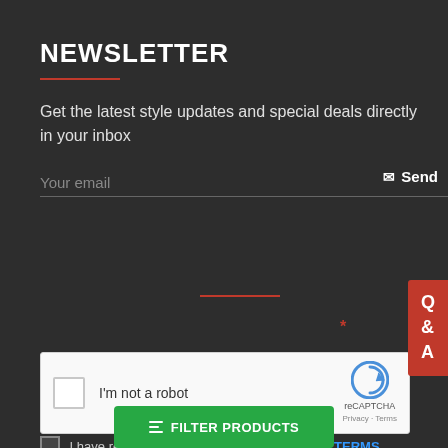NEWSLETTER
Get the latest style updates and special deals directly in your inbox
Your email
✉ Send
[Figure (other): reCAPTCHA widget with checkbox labeled I'm not a robot and reCAPTCHA logo with Privacy - Terms links]
I have read and agree to the PRIVACY AND TERMS
≡ FILTER PRODUCTS
Q & A